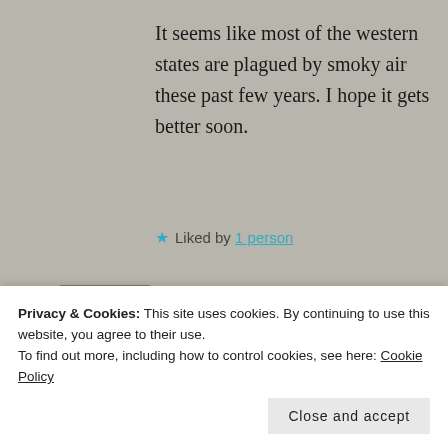It seems like most of the western states are plagued by smoky air these past few years. I hope it gets better soon.
★ Liked by 1 person
Terri Webster Schrandt
NOVEMBER 25, 2018 AT 9:28 AM
Thank goodness the rain...
Privacy & Cookies: This site uses cookies. By continuing to use this website, you agree to their use.
To find out more, including how to control cookies, see here: Cookie Policy
Close and accept
M.B. Henry